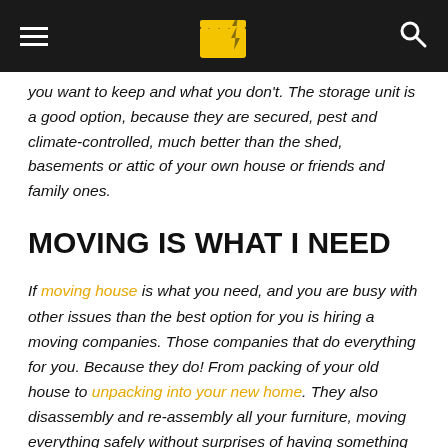[hamburger menu] [logo] [search icon]
you want to keep and what you don't. The storage unit is a good option, because they are secured, pest and climate-controlled, much better than the shed, basements or attic of your own house or friends and family ones.
MOVING IS WHAT I NEED
If moving house is what you need, and you are busy with other issues than the best option for you is hiring a moving companies. Those companies that do everything for you. Because they do! From packing of your old house to unpacking into your new home. They also disassembly and re-assembly all your furniture, moving everything safely without surprises of having something damaged or broken. Because believe it or not, it can happen! Especially when this